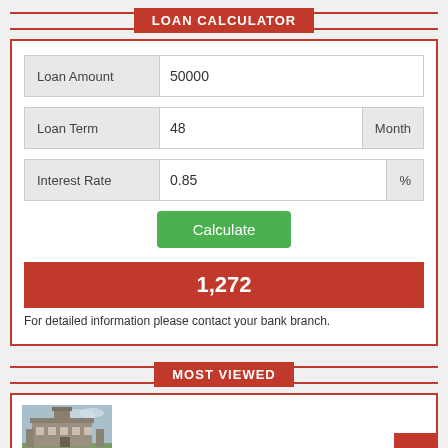LOAN CALCULATOR
[Figure (screenshot): Loan calculator form with fields for Loan Amount (50000), Loan Term (48, Month), Interest Rate (0.85, %), and a Calculate button. Result shows 1,272.]
For detailed information please contact your bank branch.
MOST VIEWED
[Figure (photo): Photo of a historic building/castle with green lawn in foreground.]